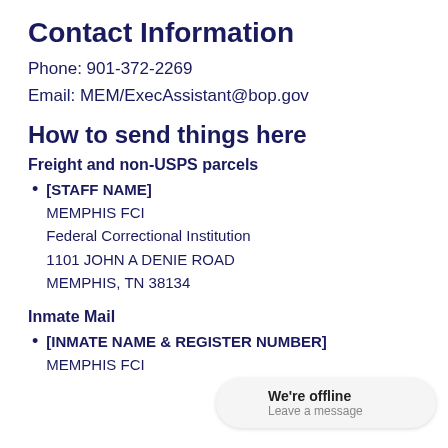Contact Information
Phone: 901-372-2269
Email: MEM/ExecAssistant@bop.gov
How to send things here
Freight and non-USPS parcels
[STAFF NAME]
MEMPHIS FCI
Federal Correctional Institution
1101 JOHN A DENIE ROAD
MEMPHIS, TN 38134
Inmate Mail
[INMATE NAME & REGISTER NUMBER]
MEMPHIS FCI